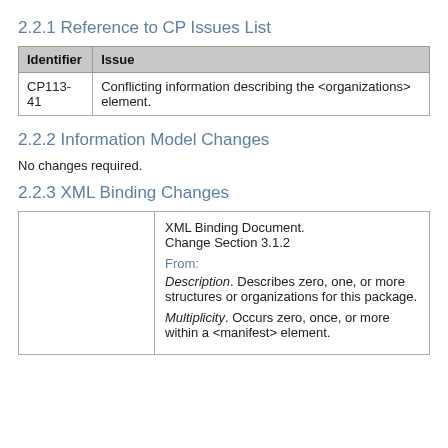2.2.1 Reference to CP Issues List
| Identifier | Issue |
| --- | --- |
| CP113-41 | Conflicting information describing the <organizations> element. |
2.2.2 Information Model Changes
No changes required.
2.2.3 XML Binding Changes
|  |  |
| --- | --- |
|  | XML Binding Document.
Change Section 3.1.2

From:
Description. Describes zero, one, or more structures or organizations for this package.

Multiplicity. Occurs zero, once, or more within a <manifest> element. |